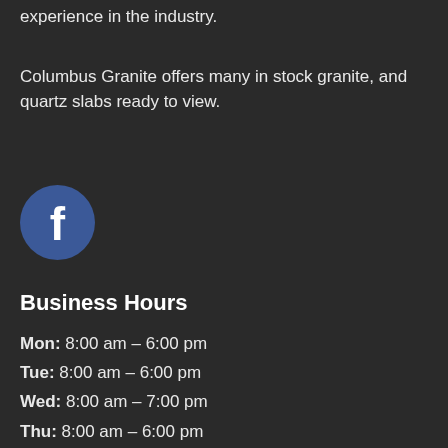experience in the industry.
Columbus Granite offers many in stock granite, and quartz slabs ready to view.
[Figure (logo): Facebook circular logo icon with white 'f' on blue circle background]
Business Hours
Mon: 8:00 am – 6:00 pm
Tue: 8:00 am – 6:00 pm
Wed: 8:00 am – 7:00 pm
Thu: 8:00 am – 6:00 pm
Fri:  8:00 am – 6:00 pm